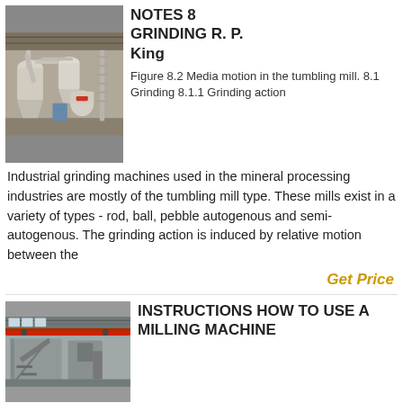[Figure (photo): Industrial grinding mill equipment in a factory setting, showing large white cylindrical machines, hoppers, and conveyor structures on a factory floor.]
NOTES 8 GRINDING R. P. King
Figure 8.2 Media motion in the tumbling mill. 8.1 Grinding 8.1.1 Grinding action
Industrial grinding machines used in the mineral processing industries are mostly of the tumbling mill type. These mills exist in a variety of types - rod, ball, pebble autogenous and semi-autogenous. The grinding action is induced by relative motion between the
Get Price
[Figure (photo): Industrial milling facility interior showing large conveyor structures, overhead crane with red beam, and factory equipment under a metal roof.]
INSTRUCTIONS HOW TO USE A MILLING MACHINE